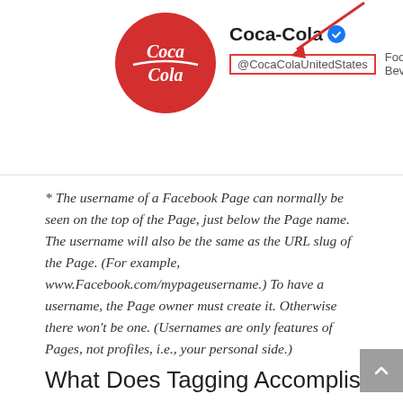[Figure (screenshot): Facebook Page profile screenshot showing the Coca-Cola page with logo, page name with verified badge, username @CocaColaUnitedStates highlighted with a red rectangle border, category 'Food & Beverage', and a red diagonal arrow pointing to the username box.]
* The username of a Facebook Page can normally be seen on the top of the Page, just below the Page name. The username will also be the same as the URL slug of the Page. (For example, www.Facebook.com/mypageusername.) To have a username, the Page owner must create it. Otherwise there won't be one. (Usernames are only features of Pages, not profiles, i.e., your personal side.)
What Does Tagging Accomplish?